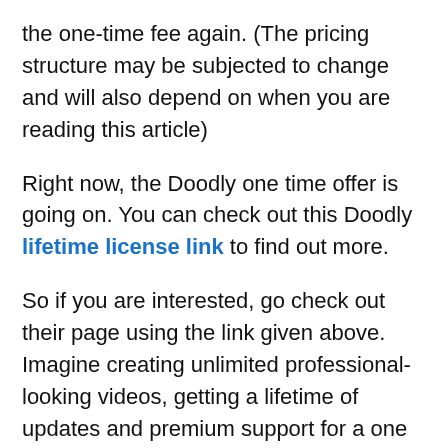the one-time fee again. (The pricing structure may be subjected to change and will also depend on when you are reading this article)
Right now, the Doodly one time offer is going on. You can check out this Doodly lifetime license link to find out more.
So if you are interested, go check out their page using the link given above. Imagine creating unlimited professional-looking videos, getting a lifetime of updates and premium support for a one time fee.